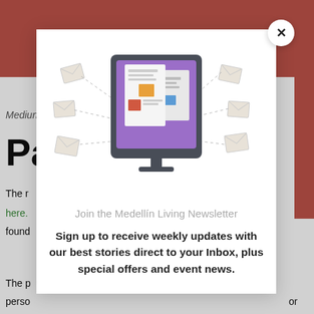[Figure (screenshot): Background webpage showing a pizza image at top, partial article title starting with 'Pa', partial article text with green link 'here.', and partial text paragraphs. A red bar at the bottom. Red strips on left and right side edges.]
[Figure (illustration): Modal popup dialog with a close X button (circle) in upper right. Center illustration shows a desktop monitor with purple background displaying newspaper/article icons with orange, red, blue, and teal colored squares, surrounded by flying envelope icons connected by dashed lines.]
Join the Medellín Living Newsletter
Sign up to receive weekly updates with our best stories direct to your Inbox, plus special offers and event news.